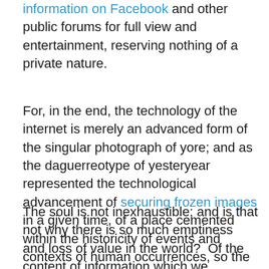information on Facebook and other public forums for full view and entertainment, reserving nothing of a private nature.
For, in the end, the technology of the internet is merely an advanced form of the singular photograph of yore; and as the daguerreotype of yesteryear represented the technological advancement of securing frozen images in a given time, of a place cemented within the historicity of events and contexts of human occurrences, so the voluntary dissemination of information about ourselves is merely a logical extension of that loss of privacy and depletion of the soul.
The soul is not inexhaustible; and is that not why there is so much emptiness and loss of value in the world?  Of the content of information which we consider “personal” and